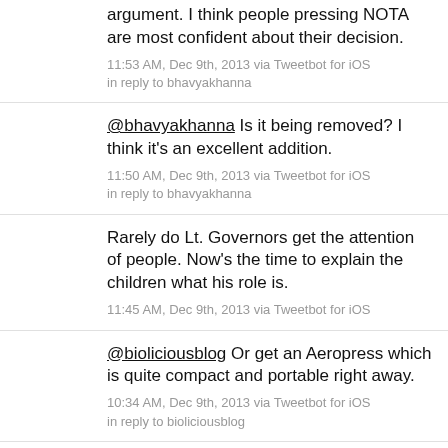argument. I think people pressing NOTA are most confident about their decision.
11:53 AM, Dec 9th, 2013 via Tweetbot for iOS
in reply to bhavyakhanna
@bhavyakhanna Is it being removed? I think it's an excellent addition.
11:50 AM, Dec 9th, 2013 via Tweetbot for iOS
in reply to bhavyakhanna
Rarely do Lt. Governors get the attention of people. Now's the time to explain the children what his role is.
11:45 AM, Dec 9th, 2013 via Tweetbot for iOS
@bioliciousblog Or get an Aeropress which is quite compact and portable right away.
10:34 AM, Dec 9th, 2013 via Tweetbot for iOS
in reply to bioliciousblog
@bioliciousblog Instant Coffee? Eww